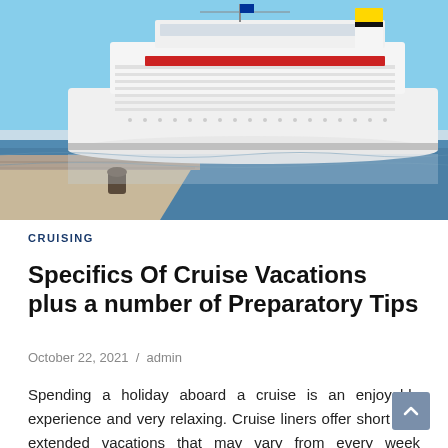[Figure (photo): A large white cruise ship docked at a port with blue water and a stone pier in the foreground. The ship has multiple decks, lifeboats, and a yellow funnel with black stripes.]
CRUISING
Specifics Of Cruise Vacations plus a number of Preparatory Tips
October 22, 2021  /  admin
Spending a holiday aboard a cruise is an enjoyable experience and very relaxing. Cruise liners offer short and extended vacations that may vary from every week extended a vacation to those who are